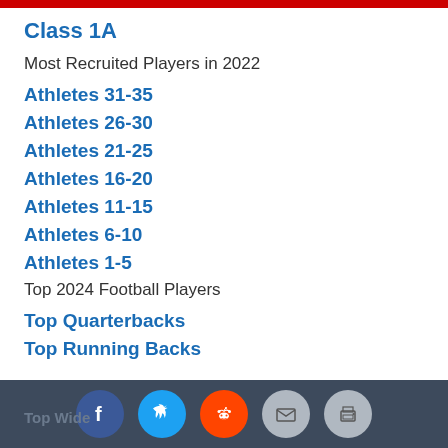Class 1A
Most Recruited Players in 2022
Athletes 31-35
Athletes 26-30
Athletes 21-25
Athletes 16-20
Athletes 11-15
Athletes 6-10
Athletes 1-5
Top 2024 Football Players
Top Quarterbacks
Top Running Backs
Top Wide Receivers